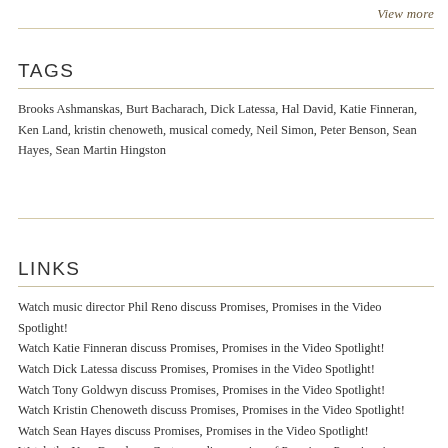View more
TAGS
Brooks Ashmanskas, Burt Bacharach, Dick Latessa, Hal David, Katie Finneran, Ken Land, kristin chenoweth, musical comedy, Neil Simon, Peter Benson, Sean Hayes, Sean Martin Hingston
LINKS
Watch music director Phil Reno discuss Promises, Promises in the Video Spotlight!
Watch Katie Finneran discuss Promises, Promises in the Video Spotlight!
Watch Dick Latessa discuss Promises, Promises in the Video Spotlight!
Watch Tony Goldwyn discuss Promises, Promises in the Video Spotlight!
Watch Kristin Chenoweth discuss Promises, Promises in the Video Spotlight!
Watch Sean Hayes discuss Promises, Promises in the Video Spotlight!
Watch the New Broadway Cast recording session of Promises, Promises in